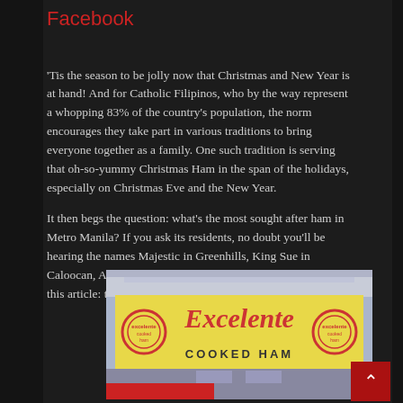Facebook
'Tis the season to be jolly now that Christmas and New Year is at hand! And for Catholic Filipinos, who by the way represent a whopping 83% of the country's population, the norm encourages they take part in various traditions to bring everyone together as a family. One such tradition is serving that oh-so-yummy Christmas Ham in the span of the holidays, especially on Christmas Eve and the New Year.

It then begs the question: what's the most sought after ham in Metro Manila? If you ask its residents, no doubt you'll be hearing the names Majestic in Greenhills, King Sue in Caloocan, Adelina's in Mandaluyong, and of course, the star of this article: the famous Excelente Ham in Quiapo!
[Figure (photo): Storefront photo of Excelente Cooked Ham store with yellow sign displaying the brand name in red cursive lettering and two circular logos on either side]